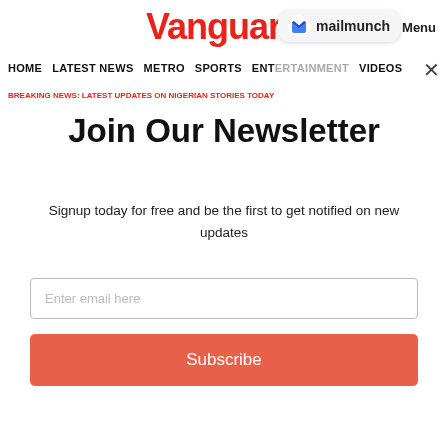Vanguard
Menu
[Figure (logo): Mailmunch logo with blue M icon and text 'mailmunch']
HOME  LATEST NEWS  METRO  SPORTS  ENTERTAINMENT  VIDEOS
Join Our Newsletter
Signup today for free and be the first to get notified on new updates
Enter email here
Subscribe